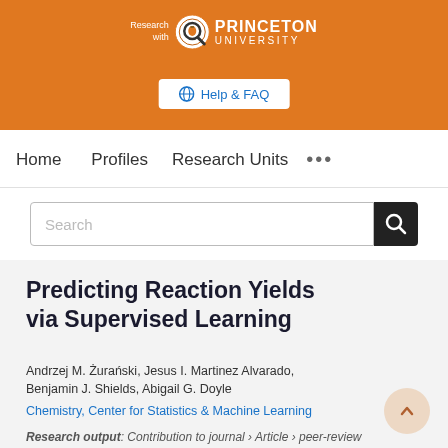[Figure (logo): Princeton University 'Research with' logo — magnifying glass icon with Princeton University wordmark in white on orange background]
Help & FAQ
Home   Profiles   Research Units   ...
Search
Predicting Reaction Yields via Supervised Learning
Andrzej M. Żurański, Jesus I. Martinez Alvarado, Benjamin J. Shields, Abigail G. Doyle
Chemistry, Center for Statistics & Machine Learning
Research output: Contribution to journal › Article › peer-review